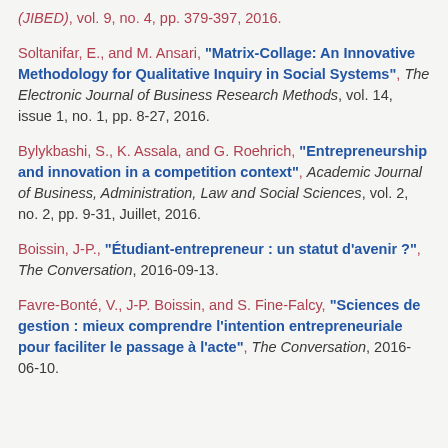(JIBED), vol. 9, no. 4, pp. 379-397, 2016.
Soltanifar, E., and M. Ansari, "Matrix-Collage: An Innovative Methodology for Qualitative Inquiry in Social Systems", The Electronic Journal of Business Research Methods, vol. 14, issue 1, no. 1, pp. 8-27, 2016.
Bylykbashi, S., K. Assala, and G. Roehrich, "Entrepreneurship and innovation in a competition context", Academic Journal of Business, Administration, Law and Social Sciences, vol. 2, no. 2, pp. 9-31, Juillet, 2016.
Boissin, J-P., "Étudiant-entrepreneur : un statut d’avenir ?", The Conversation, 2016-09-13.
Favre-Bonté, V., J-P. Boissin, and S. Fine-Falcy, "Sciences de gestion : mieux comprendre l’intention entrepreneuriale pour faciliter le passage à l’acte", The Conversation, 2016-06-10.